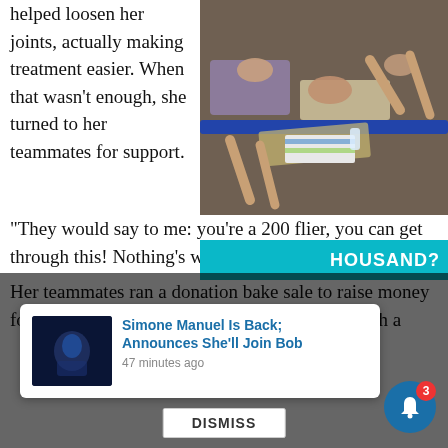helped loosen her joints, actually making treatment easier. When that wasn't enough, she turned to her teammates for support.
[Figure (photo): Swimmers/athletes lying on towels beside a pool with a blue railing, viewed from above]
“They would say to me: you're a 200 flier, you can get through this! Nothing's worse than the 200 fly!”

Her teammates ran a donation bake sale to raise money for Perez's treatment, and even surpris… her with a
[Figure (screenshot): Notification overlay showing: Simone Manuel Is Back; Announces She'll Join Bob, 47 minutes ago, with dismiss button and bell icon with badge 3]